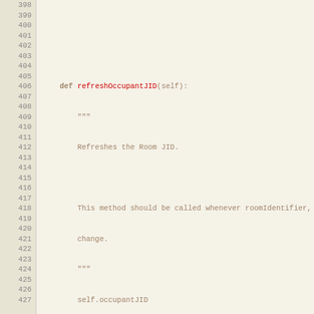[Figure (screenshot): Python source code listing showing lines 398-426 with line numbers on the left. Code includes methods refreshOccupantJID, addUser, and inRoster with docstrings and implementation.]